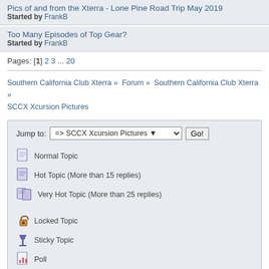Pics of and from the Xterra - Lone Pine Road Trip May 2019
Started by FrankB
Too Many Episodes of Top Gear?
Started by FrankB
Pages: [1] 2 3 ... 20
Southern California Club Xterra » Forum » Southern California Club Xterra » SCCX Xcursion Pictures
[Figure (infographic): Forum legend box with Jump to dropdown set to '=> SCCX Xcursion Pictures' and a Go button. Below: icons for Normal Topic, Hot Topic (More than 15 replies), Very Hot Topic (More than 25 replies), Locked Topic, Sticky Topic, Poll.]
Powered by EzPortal